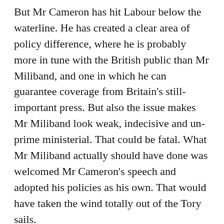But Mr Cameron has hit Labour below the waterline. He has created a clear area of policy difference, where he is probably more in tune with the British public than Mr Miliband, and one in which he can guarantee coverage from Britain's still-important press. But also the issue makes Mr Miliband look weak, indecisive and un-prime ministerial. That could be fatal. What Mr Miliband actually should have done was welcomed Mr Cameron's speech and adopted his policies as his own. That would have taken the wind totally out of the Tory sails.
The second way that Mr Cameron's move may be decisive is that it may have turned the advancing tide of British Euroscepticism, while at the same time unifying his bitterly Eurosceptic party. I have read Mr Cameron's speech, and the most striking thing about it is how Europhile it is. He has